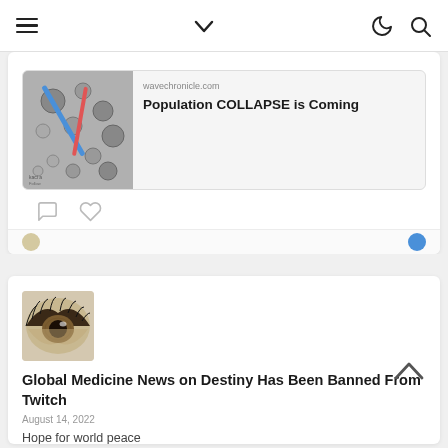Navigation bar with hamburger menu, chevron dropdown, moon/dark-mode icon, and search icon
[Figure (screenshot): Social media card showing a link preview with image of mechanical keys/tools and text 'wavechronicle.com - Population COLLAPSE is Coming', with comment and like icons below]
[Figure (photo): Close-up photo of a human eye, used as article thumbnail]
Global Medicine News on Destiny Has Been Banned From Twitch
August 14, 2022
Hope for world peace